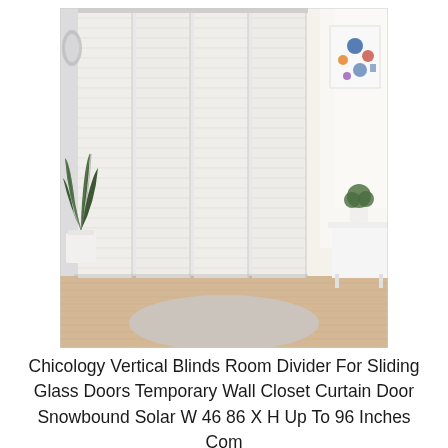[Figure (photo): A room scene showing white vertical panel blinds/sliding panels covering a large glass sliding door. The blinds have horizontal ribbed texture in white/snowbound color. To the left is a tall green plant (snake plant) in a white pot on the floor. To the right is a white side table with a small potted plant on top, and a colorful abstract art canvas on the wall. A round gray rug is on the light wood floor. Natural light comes through on the right side of the blinds showing a tree outside.]
Chicology Vertical Blinds Room Divider For Sliding Glass Doors Temporary Wall Closet Curtain Door Snowbound Solar W 46 86 X H Up To 96 Inches Com